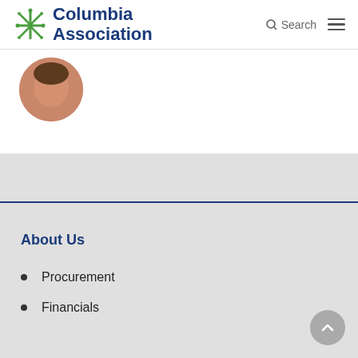[Figure (logo): Columbia Association logo with green snowflake/flower icon and blue text 'Columbia Association']
[Figure (photo): Circular cropped photo showing partial face/head of a person]
About Us
Procurement
Financials